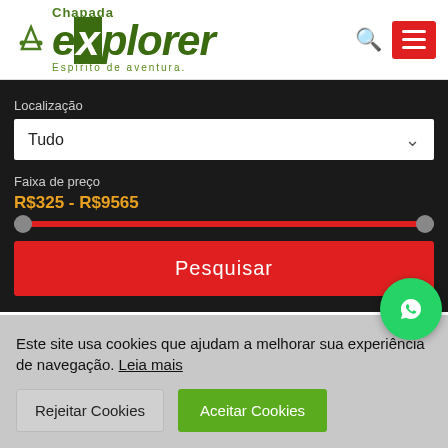[Figure (logo): Chapada Explorer logo with green stylized text and slogan 'Espírito de aventura.']
Localização
Tudo
Faixa de preço
R$325 - R$9565
Pesquisar
Este site usa cookies que ajudam a melhorar sua experiência de navegação. Leia mais
Rejeitar Cookies
Aceitar Cookies